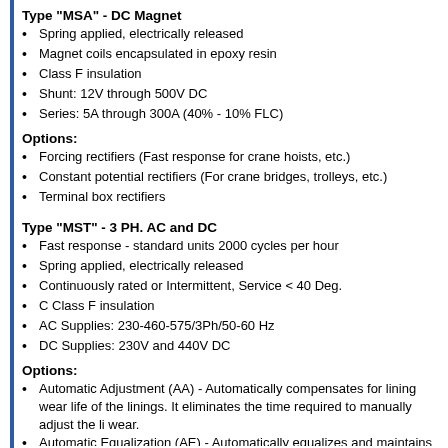Type "MSA" - DC Magnet
Spring applied, electrically released
Magnet coils encapsulated in epoxy resin
Class F insulation
Shunt: 12V through 500V DC
Series: 5A through 300A (40% - 10% FLC)
Options:
Forcing rectifiers (Fast response for crane hoists, etc.)
Constant potential rectifiers (For crane bridges, trolleys, etc.)
Terminal box rectifiers
Type "MST" - 3 PH. AC and DC
Fast response - standard units 2000 cycles per hour
Spring applied, electrically released
Continuously rated or Intermittent, Service < 40 Deg.
C Class F insulation
AC Supplies: 230-460-575/3Ph/50-60 Hz
DC Supplies: 230V and 440V DC
Options:
Automatic Adjustment (AA) - Automatically compensates for lining wear life of the linings. It eliminates the time required to manually adjust the li wear.
Automatic Equalization (AE) - Automatically equalizes and maintains ru maintains proper running, which provides balanced braking and equal b
External torque Spring with calibrated indicator
Externally adjustable, stepless time delays-both directions (set and rele
Braketronic Control
Type "MSH" - Hydraulic